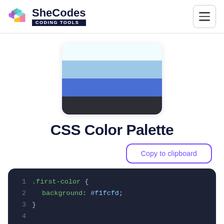SheCodes CODING TOOLS
[Figure (illustration): CSS color palette preview showing four horizontal color strips: very light blue (#f1fcfd), medium light blue, medium blue, and dark charcoal, arranged in a rounded rectangle card.]
CSS Color Palette
Copy to clipboard
1 .first-color {
2     background: #f1fcfd;
3 }
4
5 .second-color {